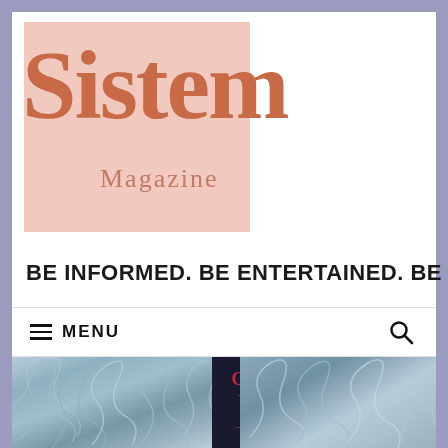[Figure (logo): Sistem Magazine logo: pink square background with large terracotta/rust serif 'Sistem' text overlapping, and 'Magazine' subtitle in muted rose color]
BE INFORMED. BE ENTERTAINED. BE YOU.
≡ MENU
[Figure (photo): Hero image showing close-up of light blue/white fur texture on the left side, and book cover of 'Children of Blood and Bone' by Tomi Adeyemi on the right, with white hair/fur texture on the far right]